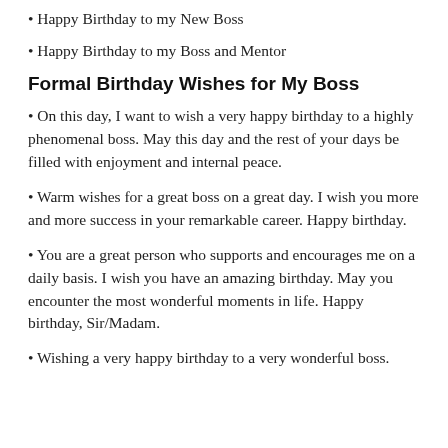Happy Birthday to my New Boss
Happy Birthday to my Boss and Mentor
Formal Birthday Wishes for My Boss
On this day, I want to wish a very happy birthday to a highly phenomenal boss. May this day and the rest of your days be filled with enjoyment and internal peace.
Warm wishes for a great boss on a great day. I wish you more and more success in your remarkable career. Happy birthday.
You are a great person who supports and encourages me on a daily basis. I wish you have an amazing birthday. May you encounter the most wonderful moments in life. Happy birthday, Sir/Madam.
Wishing a very happy birthday to a very wonderful boss.